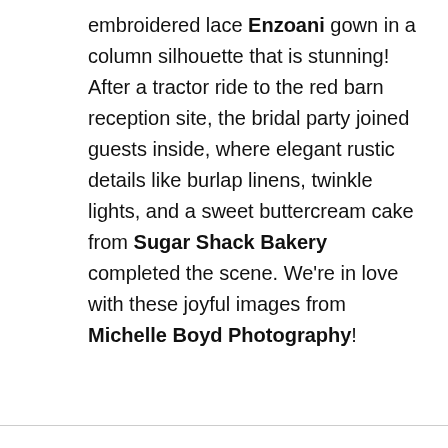embroidered lace Enzoani gown in a column silhouette that is stunning! After a tractor ride to the red barn reception site, the bridal party joined guests inside, where elegant rustic details like burlap linens, twinkle lights, and a sweet buttercream cake from Sugar Shack Bakery completed the scene. We're in love with these joyful images from Michelle Boyd Photography!